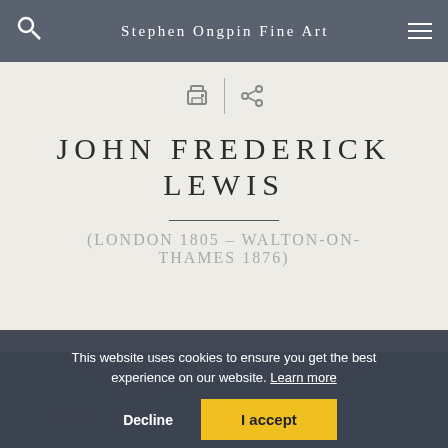Stephen Ongpin Fine Art
JOHN FREDERICK LEWIS
(London 1805 – Walton-on-Thames 1876)
This website uses cookies to ensure you get the best experience on our website. Learn more
Decline
I accept